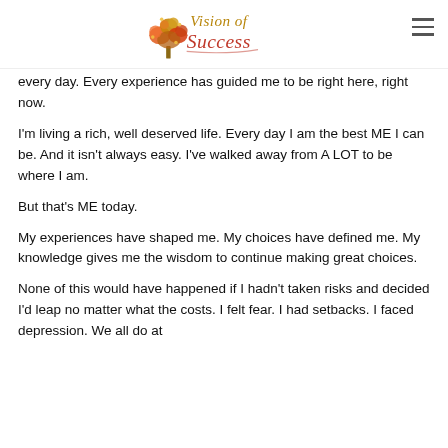Vision of Success
every day. Every experience has guided me to be right here, right now.
I'm living a rich, well deserved life. Every day I am the best ME I can be. And it isn't always easy. I've walked away from A LOT to be where I am.
But that's ME today.
My experiences have shaped me. My choices have defined me. My knowledge gives me the wisdom to continue making great choices.
None of this would have happened if I hadn't taken risks and decided I'd leap no matter what the costs. I felt fear. I had setbacks. I faced depression. We all do at